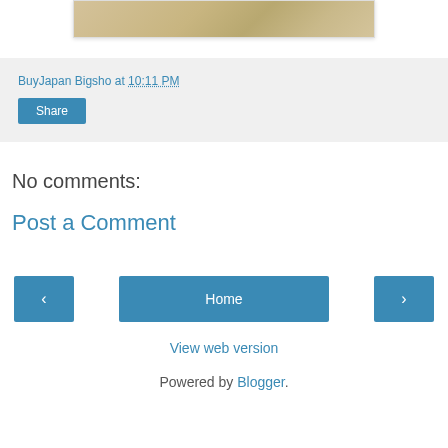[Figure (photo): Partial photo of a wooden or light-colored surface, cropped at top]
BuyJapan Bigsho at 10:11 PM
Share
No comments:
Post a Comment
‹
Home
›
View web version
Powered by Blogger.